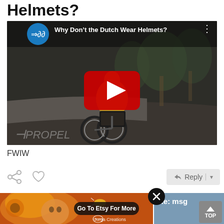Helmets?
[Figure (screenshot): YouTube video thumbnail showing a person riding a bicycle away from the camera on a Dutch street with trees, with a YouTube play button overlay, channel icon (cycling logo) in top left, video title 'Why Don't the Dutch Wear Helmets?' and PROPEL watermark at bottom left.]
FWIW
[Figure (photo): Etsy advertisement showing a colorful artistic painting of a sun-like face with bees, with text 'Go To Etsy For More' in a dark oval button and 'Jurga Creations' branding at bottom.]
Re: msg